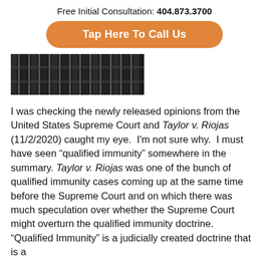Free Initial Consultation: 404.873.3700
Tap Here To Call Us
[Figure (photo): Black and white photo of prison bars or metal grating structure]
I was checking the newly released opinions from the United States Supreme Court and Taylor v. Riojas (11/2/2020) caught my eye.  I'm not sure why.  I must have seen “qualified immunity” somewhere in the summary. Taylor v. Riojas was one of the bunch of qualified immunity cases coming up at the same time before the Supreme Court and on which there was much speculation over whether the Supreme Court might overturn the qualified immunity doctrine. “Qualified Immunity” is a [judicially created doctrine that is a defense...]